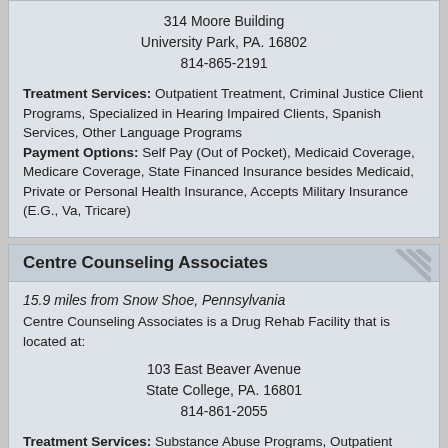314 Moore Building
University Park, PA. 16802
814-865-2191
Treatment Services: Outpatient Treatment, Criminal Justice Client Programs, Specialized in Hearing Impaired Clients, Spanish Services, Other Language Programs
Payment Options: Self Pay (Out of Pocket), Medicaid Coverage, Medicare Coverage, State Financed Insurance besides Medicaid, Private or Personal Health Insurance, Accepts Military Insurance (E.G., Va, Tricare)
Centre Counseling Associates
15.9 miles from Snow Shoe, Pennsylvania
Centre Counseling Associates is a Drug Rehab Facility that is located at:
103 East Beaver Avenue
State College, PA. 16801
814-861-2055
Treatment Services: Substance Abuse Programs, Outpatient Treatment, Adolescents (18 and under), Co-Occurring Mental with Substance Abuse Issues, Specialized in Alternative Lifestyle, Seniors/Older Adult Services, Caters to Pregnant/Postpartum Women, Women Only, Men Only, Dui/Dwi Offender Programs, Criminal Justice Client Programs
Payment Options: Self Pay (Out of Pocket), Medicaid Coverage,